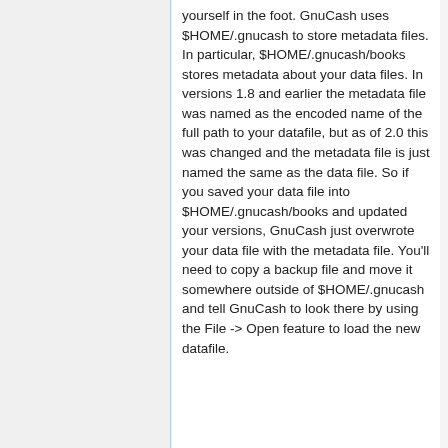yourself in the foot. GnuCash uses $HOME/.gnucash to store metadata files. In particular, $HOME/.gnucash/books stores metadata about your data files. In versions 1.8 and earlier the metadata file was named as the encoded name of the full path to your datafile, but as of 2.0 this was changed and the metadata file is just named the same as the data file. So if you saved your data file into $HOME/.gnucash/books and updated your versions, GnuCash just overwrote your data file with the metadata file. You'll need to copy a backup file and move it somewhere outside of $HOME/.gnucash and tell GnuCash to look there by using the File -> Open feature to load the new datafile.